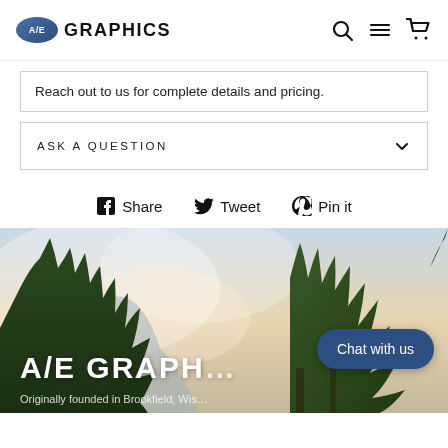A/E GRAPHICS
Reach out to us for complete details and pricing.
ASK A QUESTION
Share   Tweet   Pin it
[Figure (photo): Landscape photo with trees and sky used as banner background showing 'A/E GRAPHICS' text overlay and 'Chat with us' button]